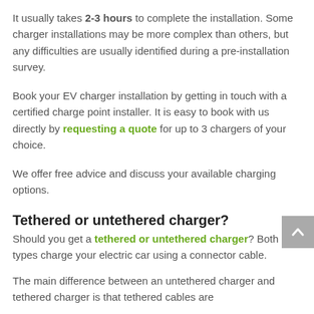It usually takes 2-3 hours to complete the installation. Some charger installations may be more complex than others, but any difficulties are usually identified during a pre-installation survey.
Book your EV charger installation by getting in touch with a certified charge point installer. It is easy to book with us directly by requesting a quote for up to 3 chargers of your choice.
We offer free advice and discuss your available charging options.
Tethered or untethered charger?
Should you get a tethered or untethered charger? Both types charge your electric car using a connector cable.
The main difference between an untethered charger and tethered charger is that tethered cables are